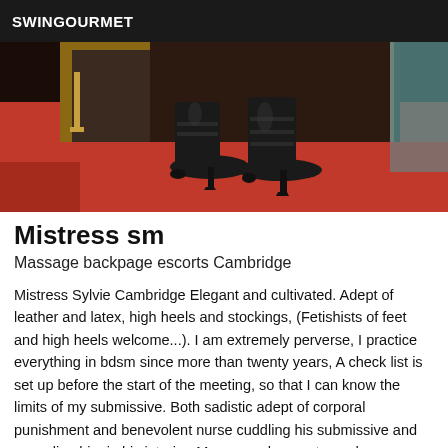SWINGOURMET
[Figure (photo): Close-up photo of a person wearing black high-heeled boots standing on a red carpet floor, with a mirror and gold candlestick visible in the background]
Mistress sm
Massage backpage escorts Cambridge
Mistress Sylvie Cambridge Elegant and cultivated. Adept of leather and latex, high heels and stockings, (Fetishists of feet and high heels welcome...). I am extremely perverse, I practice everything in bdsm since more than twenty years, A check list is set up before the start of the meeting, so that I can know the limits of my submissive. Both sadistic adept of corporal punishment and benevolent nurse cuddling his submissive and consoling him in his interior. My research goes towards a